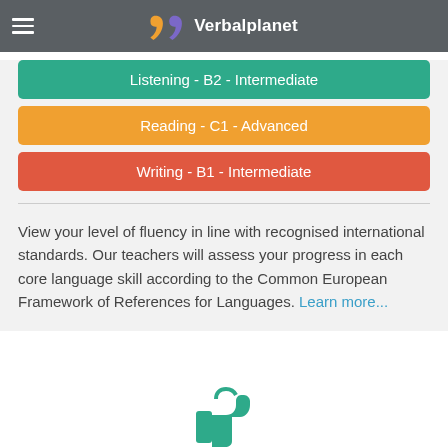Verbalplanet
Listening - B2 - Intermediate
Reading - C1 - Advanced
Writing - B1 - Intermediate
View your level of fluency in line with recognised international standards. Our teachers will assess your progress in each core language skill according to the Common European Framework of References for Languages. Learn more...
[Figure (illustration): Thumbs up icon in teal/green color at the bottom of the page]